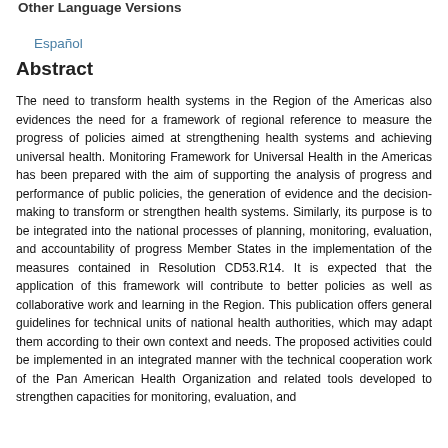Other Language Versions
Español
Abstract
The need to transform health systems in the Region of the Americas also evidences the need for a framework of regional reference to measure the progress of policies aimed at strengthening health systems and achieving universal health. Monitoring Framework for Universal Health in the Americas has been prepared with the aim of supporting the analysis of progress and performance of public policies, the generation of evidence and the decision-making to transform or strengthen health systems. Similarly, its purpose is to be integrated into the national processes of planning, monitoring, evaluation, and accountability of progress Member States in the implementation of the measures contained in Resolution CD53.R14. It is expected that the application of this framework will contribute to better policies as well as collaborative work and learning in the Region. This publication offers general guidelines for technical units of national health authorities, which may adapt them according to their own context and needs. The proposed activities could be implemented in an integrated manner with the technical cooperation work of the Pan American Health Organization and related tools developed to strengthen capacities for monitoring, evaluation, and